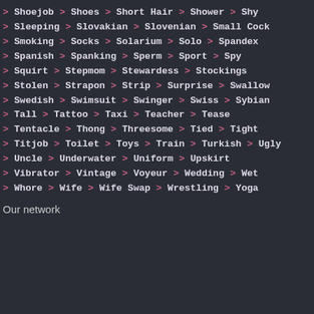> Shoejob > Shoes > Short Hair > Shower > Shy
> Sleeping > Slovakian > Slovenian > Small Cock
> Smoking > Socks > Solarium > Solo > Spandex
> Spanish > Spanking > Sperm > Sport > Spy
> Squirt > Stepmom > Stewardess > Stockings
> Stolen > Strapon > Strip > Surprise > Swallow
> Swedish > Swimsuit > Swinger > Swiss > Sybian
> Tall > Tattoo > Taxi > Teacher > Tease
> Tentacle > Thong > Threesome > Tied > Tight
> Titjob > Toilet > Toys > Train > Turkish > Ugly
> Uncle > Underwater > Uniform > Upskirt
> Vibrator > Vintage > Voyeur > Wedding > Wet
> Whore > Wife > Wife Swap > Wrestling > Yoga
Our network